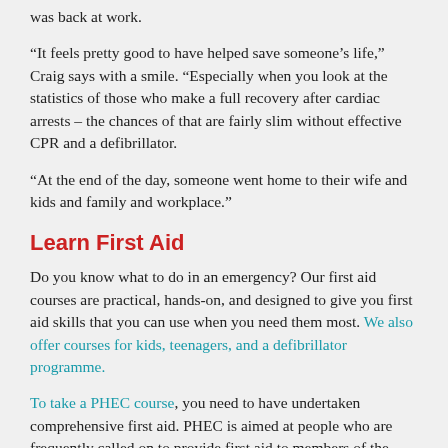was back at work.
“It feels pretty good to have helped save someone’s life,” Craig says with a smile. “Especially when you look at the statistics of those who make a full recovery after cardiac arrests – the chances of that are fairly slim without effective CPR and a defibrillator.
“At the end of the day, someone went home to their wife and kids and family and workplace.”
Learn First Aid
Do you know what to do in an emergency? Our first aid courses are practical, hands-on, and designed to give you first aid skills that you can use when you need them most. We also offer courses for kids, teenagers, and a defibrillator programme.
To take a PHEC course, you need to have undertaken comprehensive first aid. PHEC is aimed at people who are frequently called on to provide first aid to members of the public, who live or work in remote locations or are in risky occupations.